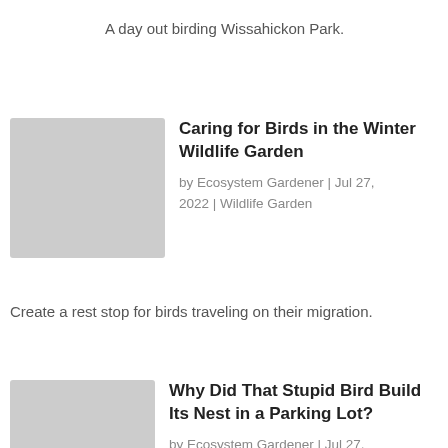A day out birding Wissahickon Park.
[Figure (photo): Thumbnail image for 'Caring for Birds in the Winter Wildlife Garden' article]
Caring for Birds in the Winter Wildlife Garden
by Ecosystem Gardener | Jul 27, 2022 | Wildlife Garden
Create a rest stop for birds traveling on their migration.
[Figure (photo): Thumbnail image for 'Why Did That Stupid Bird Build Its Nest in a Parking Lot?' article]
Why Did That Stupid Bird Build Its Nest in a Parking Lot?
by Ecosystem Gardener | Jul 27, 2022 | Bird Gardening